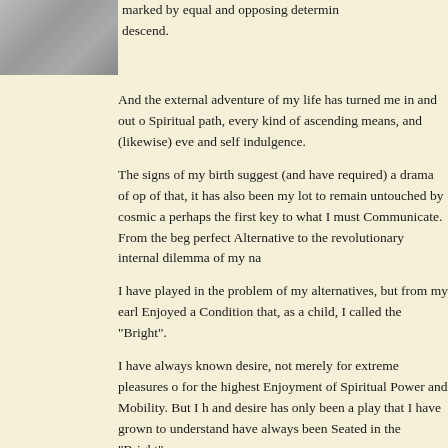[Figure (photo): Black and white photo of hands, appears to be a baby's hand held by an adult hand]
marked by equal and opposing determin descend.
And the external adventure of my life has turned me in and out o Spiritual path, every kind of ascending means, and (likewise) eve and self indulgence.
The signs of my birth suggest (and have required) a drama of op of that, it has also been my lot to remain untouched by cosmic a perhaps the first key to what I must Communicate. From the beg perfect Alternative to the revolutionary internal dilemma of my na
I have played in the problem of my alternatives, but from my earl Enjoyed a Condition that, as a child, I called the "Bright".
I have always known desire, not merely for extreme pleasures o for the highest Enjoyment of Spiritual Power and Mobility. But I h and desire has only been a play that I have grown to understand have always been Seated in the "Bright".
Even as a baby, I remember only crawling around inquisitively wi boundless Feeling of Joy, Light, and Freedom in the middle of m that was bathed in Energy moving unobstructed in a Circle — do from above, all the way down, then up, all the way up, and arour — and always Shining from my heart.